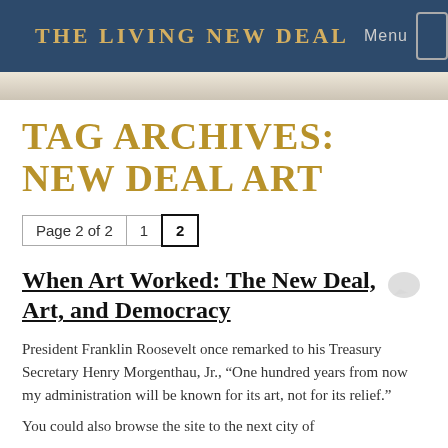THE LIVING NEW DEAL   Menu
TAG ARCHIVES: NEW DEAL ART
Page 2 of 2   1   2
When Art Worked: The New Deal, Art, and Democracy
President Franklin Roosevelt once remarked to his Treasury Secretary Henry Morgenthau, Jr., “One hundred years from now my administration will be known for its art, not for its relief.”
You could also browse the site to the next city of...